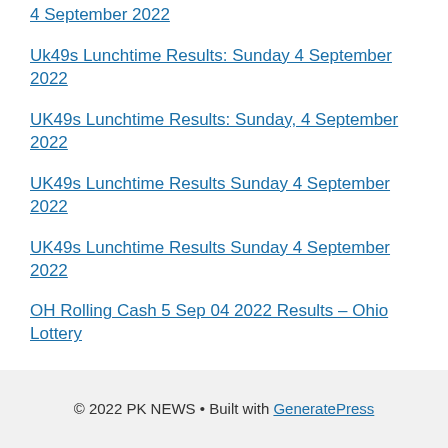4 September 2022
Uk49s Lunchtime Results: Sunday 4 September 2022
UK49s Lunchtime Results: Sunday, 4 September 2022
UK49s Lunchtime Results Sunday 4 September 2022
UK49s Lunchtime Results Sunday 4 September 2022
OH Rolling Cash 5 Sep 04 2022 Results – Ohio Lottery
© 2022 PK NEWS • Built with GeneratePress